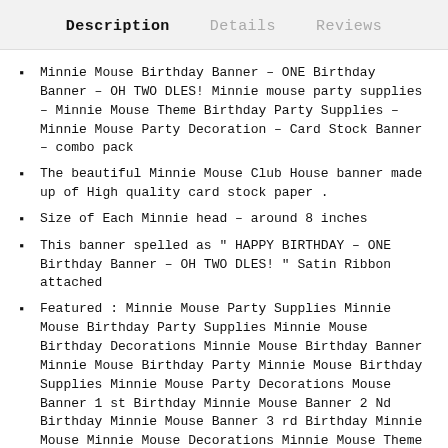Description | Details | Reviews
Minnie Mouse Birthday Banner – ONE Birthday Banner – OH TWO DLES! Minnie mouse party supplies – Minnie Mouse Theme Birthday Party Supplies – Minnie Mouse Party Decoration – Card Stock Banner – combo pack
The beautiful Minnie Mouse Club House banner made up of High quality card stock paper .
Size of Each Minnie head – around 8 inches
This banner spelled as " HAPPY BIRTHDAY – ONE Birthday Banner – OH TWO DLES! " Satin Ribbon attached
Featured : Minnie Mouse Party Supplies Minnie Mouse Birthday Party Supplies Minnie Mouse Birthday Decorations Minnie Mouse Birthday Banner Minnie Mouse Birthday Party Minnie Mouse Birthday Supplies Minnie Mouse Party Decorations Mouse Banner 1 st Birthday Minnie Mouse Banner 2 Nd Birthday Minnie Mouse Banner 3 rd Birthday Minnie Mouse Minnie Mouse Decorations Minnie Mouse Theme Party Supplies Minnie Mouse Garland